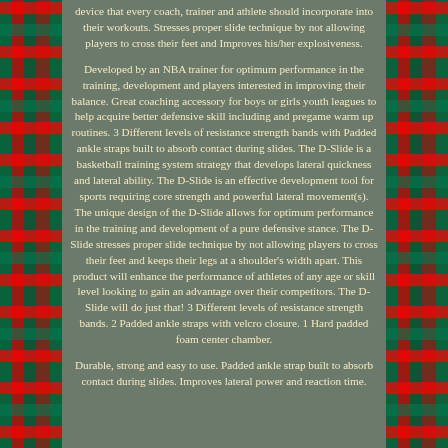device that every coach, trainer and athlete should incorporate into their workouts. Stresses proper slide technique by not allowing players to cross their feet and Improves his/her explosiveness.
Developed by an NBA trainer for optimum performance in the training, development and players interested in improving their balance. Great coaching accessory for boys or girls youth leagues to help acquire better defensive skill including and pregame warm up routines. 3 Different levels of resistance strength bands with Padded ankle straps built to absorb contact during slides. The D-Slide is a basketball training system strategy that develops lateral quickness and lateral ability. The D-Slide is an effective development tool for sports requiring core strength and powerful lateral movement(s). The unique design of the D-Slide allows for optimum performance in the training and development of a pure defensive stance. The D-Slide stresses proper slide technique by not allowing players to cross their feet and keeps their legs at a shoulder's width apart. This product will enhance the performance of athletes of any age or skill level looking to gain an advantage over their competitors. The D-Slide will do just that! 3 Different levels of resistance strength bands. 2 Padded ankle straps with velcro closure. 1 Hard padded foam center chamber.
Durable, strong and easy to use. Padded ankle strap built to absorb contact during slides. Improves lateral power and reaction time.